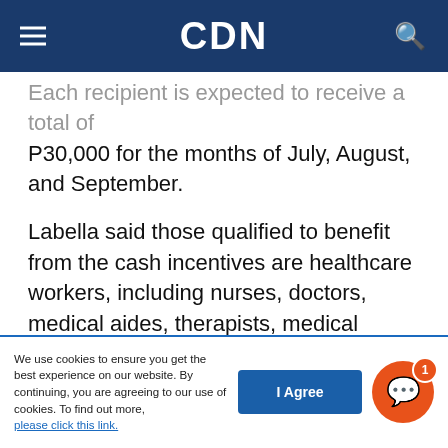CDN
Each recipient is expected to receive a total of P30,000 for the months of July, August, and September.
Labella said those qualified to benefit from the cash incentives are healthcare workers, including nurses, doctors, medical aides, therapists, medical technologists to name some, for as long as they are involved in attending to coronavirus disease 2019 (COVID-19) patients.
/dbs
We use cookies to ensure you get the best experience on our website. By continuing, you are agreeing to our use of cookies. To find out more, please click this link.